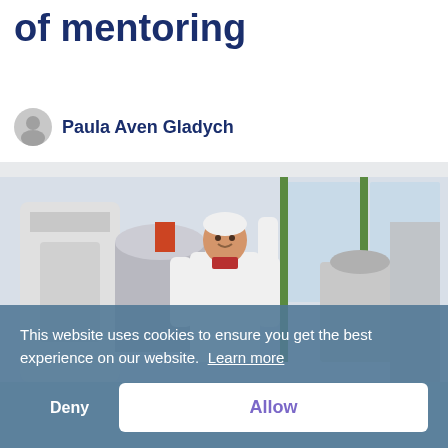of mentoring
Paula Aven Gladych
[Figure (photo): A man in a white lab coat and hairnet stands smiling in an industrial food processing facility with large stainless steel equipment.]
This website uses cookies to ensure you get the best experience on our website. Learn more
Deny
Allow